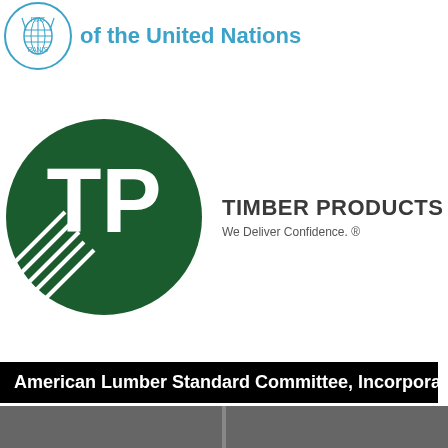[Figure (logo): FAO (Food and Agriculture Organization of the United Nations) logo with globe emblem and text 'of the United Nations' in blue]
[Figure (logo): Timber Products logo - green circle with TP letters and text 'TIMBER PRODUCTS We Deliver Confidence.']
[Figure (logo): American Lumber Standard Committee, Incorporated logo - white text on black banner background]
[Figure (logo): Center for Packaging and Unit Load Design / USDA logo with green squares icon and USDA landscape graphic]